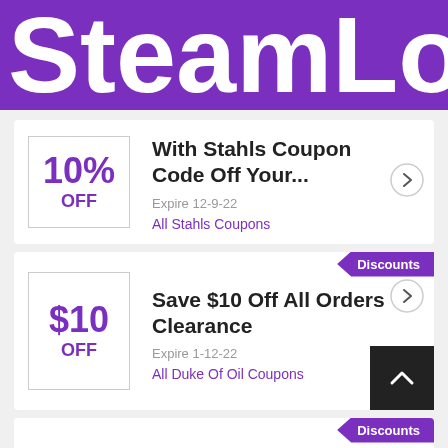SteamLo
10% OFF
With Stahls Coupon Code Off Your...
Expire 12-9-22
All Stahls Coupons
Discounts
$10 OFF
Save $10 Off All Orders Clearance
Expire 1-12-22
All Duke Of Oil Coupons
Discounts